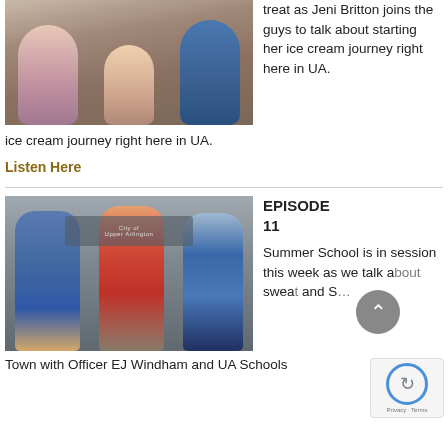[Figure (photo): Three people standing together posing for a photo, two men in blue cardigans flanking a woman in a black top]
treat as Jeni Britton joins the guys to talk about starting her ice cream journey right here in UA.
Listen Here
[Figure (photo): Three men standing together in front of a City of Upper Arlington sign, the middle man wearing a red sweater]
EPISODE 11
Summer School is in session this week as we talk about sweat... and S...
Town with Officer EJ Windham and UA Schools